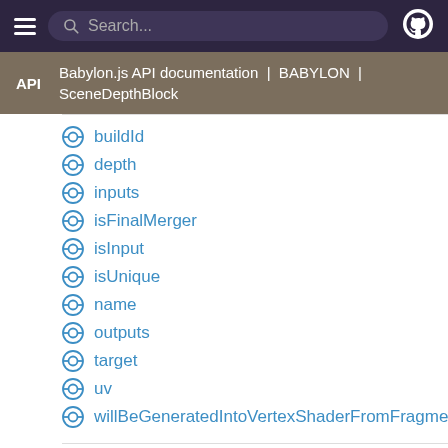Search...
Babylon.js API documentation | BABYLON | SceneDepthBlock
buildId
depth
inputs
isFinalMerger
isInput
isUnique
name
outputs
target
uv
willBeGeneratedIntoVertexShaderFromFragmentSha
Methods